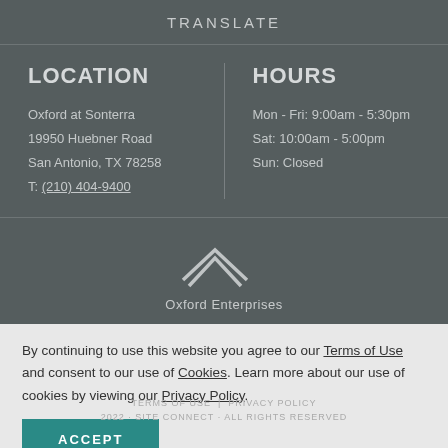TRANSLATE
LOCATION
Oxford at Sonterra
19950 Huebner Road
San Antonio, TX 78258
T: (210) 404-9400
HOURS
Mon - Fri: 9:00am - 5:30pm
Sat: 10:00am - 5:00pm
Sun: Closed
[Figure (logo): Oxford Enterprises logo with double chevron/mountain peak graphic above text]
By continuing to use this website you agree to our Terms of Use and consent to our use of Cookies. Learn more about our use of cookies by viewing our Privacy Policy.
ACCEPT
TERMS OF USE  |  PRIVACY POLICY
2022 · SITE CONNECT · ALL RIGHTS RESERVED